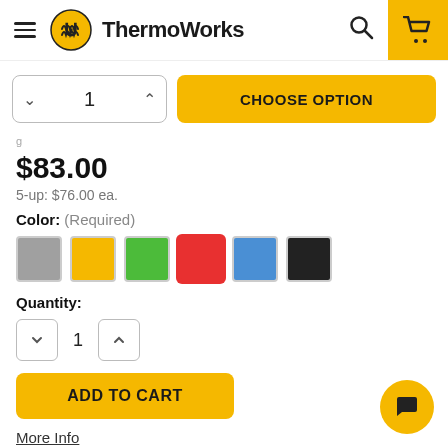ThermoWorks
$83.00
5-up: $76.00 ea.
Color: (Required)
[Figure (illustration): Color swatches: gray, yellow, green, red (selected), blue, black]
Quantity:
ADD TO CART
More Info